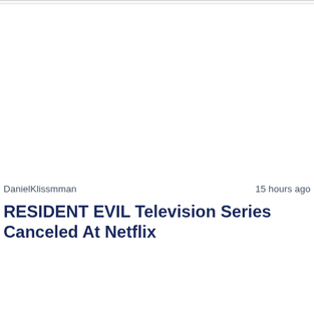DanielKlissmman   15 hours ago
RESIDENT EVIL Television Series Canceled At Netflix